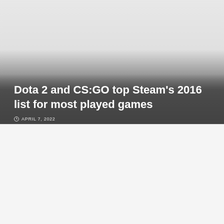[Figure (photo): Hero image area with gradient overlay fading from light gray at top to dark gray at bottom, used as background for article header]
Dota 2 and CS:GO top Steam's 2016 list for most played games
APRIL 7, 2022